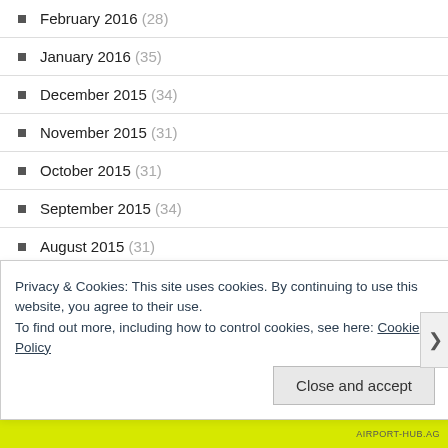February 2016 (28)
January 2016 (35)
December 2015 (34)
November 2015 (31)
October 2015 (31)
September 2015 (34)
August 2015 (31)
July 2015 (33)
June 2015 (12)
May 2015 (31)
April 2015 (32)
Privacy & Cookies: This site uses cookies. By continuing to use this website, you agree to their use. To find out more, including how to control cookies, see here: Cookie Policy
Close and accept